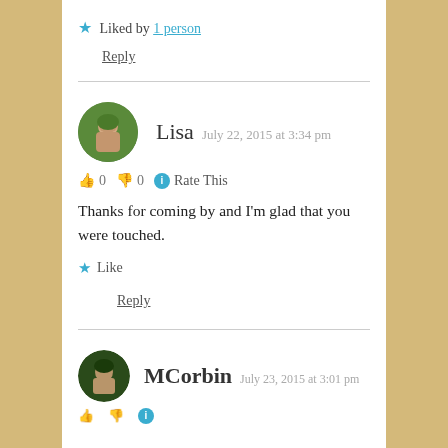★ Liked by 1 person
Reply
Lisa  July 22, 2015 at 3:34 pm
👍 0  👎 0  ℹ Rate This
Thanks for coming by and I'm glad that you were touched.
★ Like
Reply
MCorbin  July 23, 2015 at 3:01 pm